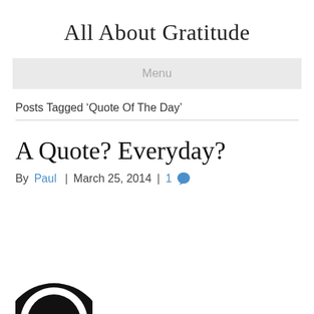All About Gratitude
Menu
Posts Tagged ‘Quote Of The Day’
A Quote? Everyday?
By Paul | March 25, 2014 | 1
[Figure (illustration): Partial view of a circular black and white illustration or avatar at the bottom left of the page]